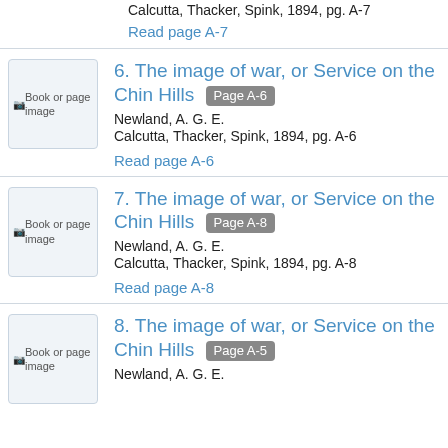Calcutta, Thacker, Spink, 1894, pg. A-7
Read page A-7
6. The image of war, or Service on the Chin Hills [Page A-6]
Newland, A. G. E.
Calcutta, Thacker, Spink, 1894, pg. A-6
Read page A-6
7. The image of war, or Service on the Chin Hills [Page A-8]
Newland, A. G. E.
Calcutta, Thacker, Spink, 1894, pg. A-8
Read page A-8
8. The image of war, or Service on the Chin Hills [Page A-5]
Newland, A. G. E.